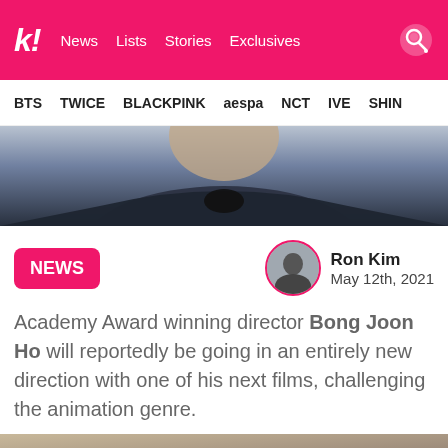k! News  Lists  Stories  Exclusives
BTS  TWICE  BLACKPINK  aespa  NCT  IVE  SHIN
[Figure (photo): Hero photo of a person in a dark navy jacket and black shirt, upper body shot]
NEWS
Ron Kim
May 12th, 2021
Academy Award winning director Bong Joon Ho will reportedly be going in an entirely new direction with one of his next films, challenging the animation genre.
[Figure (photo): Bottom photo, partially visible, showing a person's hands in a muted brownish setting]